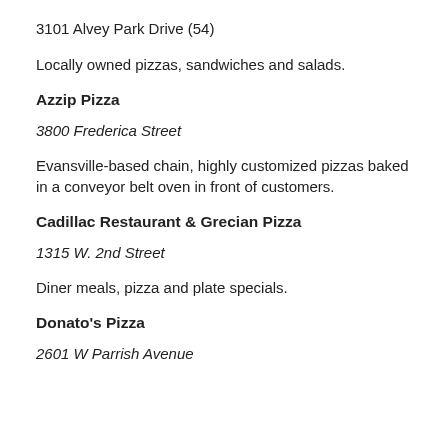3101 Alvey Park Drive (54)
Locally owned pizzas, sandwiches and salads.
Azzip Pizza
3800 Frederica Street
Evansville-based chain, highly customized pizzas baked in a conveyor belt oven in front of customers.
Cadillac Restaurant & Grecian Pizza
1315 W. 2nd Street
Diner meals, pizza and plate specials.
Donato's Pizza
2601 W Parrish Avenue